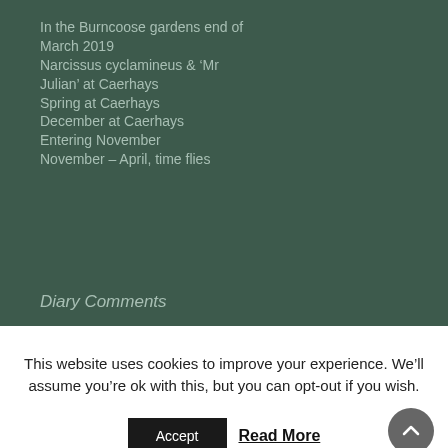In the Burncoose gardens end of March 2019
Narcissus cyclamineus & ‘Mr Julian’ at Caerhays
Spring at Caerhays
December at Caerhays
Entering November
November – April, time flies
Diary Comments
This website uses cookies to improve your experience. We’ll assume you’re ok with this, but you can opt-out if you wish.
Accept   Read More